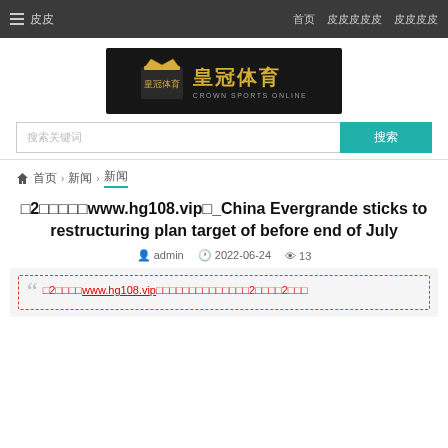≡ 皮皮 | 首页 | 皮皮皮皮皮 | 皮皮皮皮
[Figure (logo): 皇冠体育 Crown Sports Online logo with crown icon on black background]
搜索关键词
搜索
🏠 首页 › 新闻 › 新闻
□2□□□□□www.hg108.vip□_China Evergrande sticks to restructuring plan target of before end of July
admin  2022-06-24  13
□2□□□□www.hg108.vip□□□□□□□□□□□□□□2□□□□2□□□